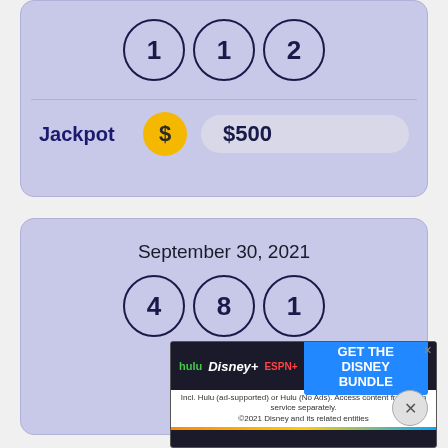[Figure (infographic): Lottery card showing three numbered balls (1, 1, 2) and a jackpot of $500]
Jackpot $500
[Figure (infographic): Lottery card showing date September 30, 2021 with three numbered balls (4, 8, 1)]
September 30, 2021
[Figure (screenshot): Hulu Disney+ ESPN+ ad banner: GET THE DISNEY BUNDLE]